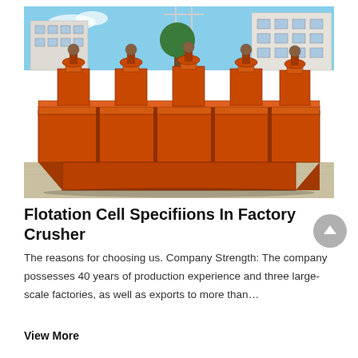[Figure (photo): Photograph of a large orange industrial flotation cell machine with multiple agitator mechanisms on top, photographed outdoors at a factory yard with industrial buildings and a tree in the background.]
Flotation Cell Specifiions In Factory Crusher
The reasons for choosing us. Company Strength: The company possesses 40 years of production experience and three large-scale factories, as well as exports to more than…
View More